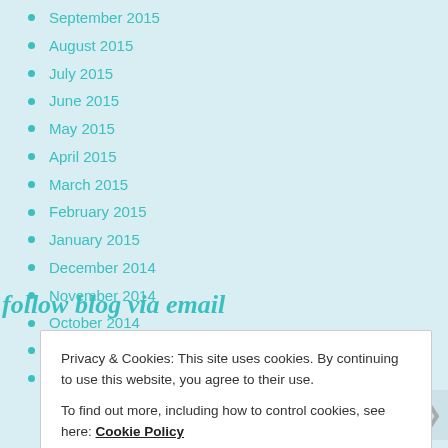September 2015
August 2015
July 2015
June 2015
May 2015
April 2015
March 2015
February 2015
January 2015
December 2014
November 2014
October 2014
September 2014
August 2014
follow blog via email
Privacy & Cookies: This site uses cookies. By continuing to use this website, you agree to their use.
To find out more, including how to control cookies, see here: Cookie Policy
Close and accept